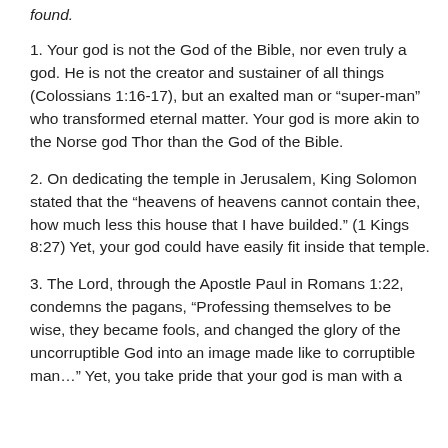found.
1. Your god is not the God of the Bible, nor even truly a god. He is not the creator and sustainer of all things (Colossians 1:16-17), but an exalted man or “super-man” who transformed eternal matter. Your god is more akin to the Norse god Thor than the God of the Bible.
2. On dedicating the temple in Jerusalem, King Solomon stated that the “heavens of heavens cannot contain thee, how much less this house that I have builded.” (1 Kings 8:27) Yet, your god could have easily fit inside that temple.
3. The Lord, through the Apostle Paul in Romans 1:22, condemns the pagans, “Professing themselves to be wise, they became fools, and changed the glory of the uncorruptible God into an image made like to corruptible man…” Yet, you take pride that your god is man with a